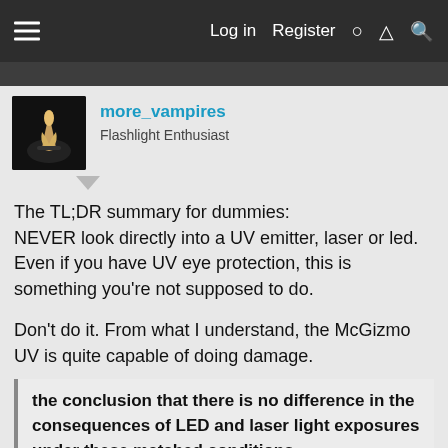Log in  Register
[Figure (screenshot): Forum user avatar showing a dark image of a hand holding a lit lighter]
more_vampires
Flashlight Enthusiast
The TL;DR summary for dummies:
NEVER look directly into a UV emitter, laser or led. Even if you have UV eye protection, this is something you're not supposed to do.

Don't do it. From what I understand, the McGizmo UV is quite capable of doing damage.
the conclusion that there is no difference in the consequences of LED and laser light exposures under these matched conditions.
Thanks to CPF on FritzUID for getting this...